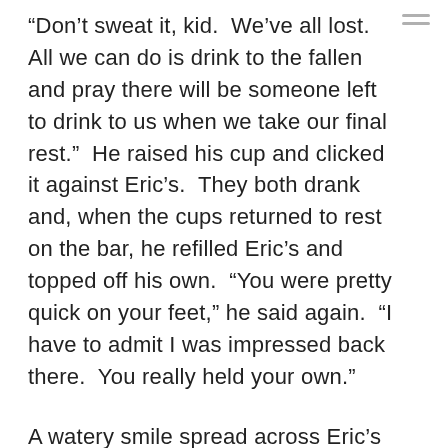“Don’t sweat it, kid.  We’ve all lost.  All we can do is drink to the fallen and pray there will be someone left to drink to us when we take our final rest.”  He raised his cup and clicked it against Eric’s.  They both drank and, when the cups returned to rest on the bar, he refilled Eric’s and topped off his own.  “You were pretty quick on your feet,” he said again.  “I have to admit I was impressed back there.  You really held your own.”
A watery smile spread across Eric’s cheeks.  His face was beginning to feel comfortably flush with the warmth of the whiskey.  It felt good to sit down with a person and share a drink, just talking, no ulterior motives.  He couldn’t remember the last time he had a real conversation with anyone.  So many people just talked at each other.  He